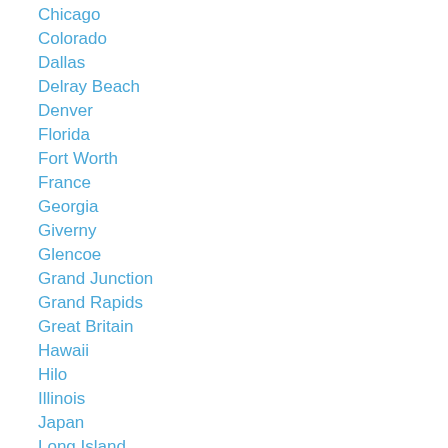Chicago
Colorado
Dallas
Delray Beach
Denver
Florida
Fort Worth
France
Georgia
Giverny
Glencoe
Grand Junction
Grand Rapids
Great Britain
Hawaii
Hilo
Illinois
Japan
Long Island
Los Angeles